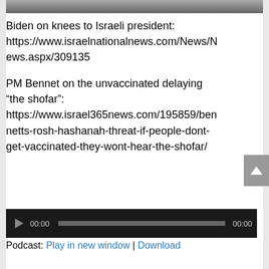[Figure (photo): Partial photo strip showing group of people at top of page]
Biden on knees to Israeli president: https://www.israelnationalnews.com/News/News.aspx/309135

PM Bennet on the unvaccinated delaying “the shofar”: https://www.israel365news.com/195859/bennetts-rosh-hashanah-threat-if-people-dont-get-vaccinated-they-wont-hear-the-shofar/
[Figure (other): Audio podcast player widget showing 00:00 / 00:00 progress bar on dark background]
Podcast: Play in new window | Download